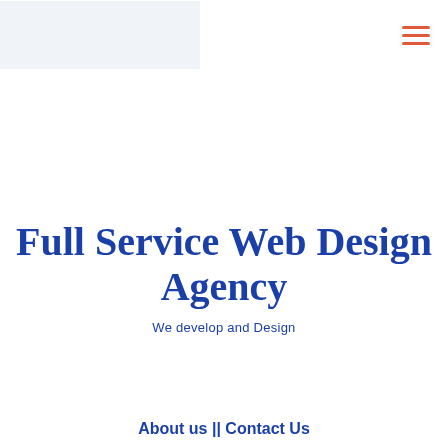[Figure (logo): Light blue/grey rectangular logo placeholder area in the top-left header]
[Figure (other): Hamburger menu icon with three horizontal coral/red lines in top-right header]
Full Service Web Design Agency
We develop and Design
About us || Contact Us